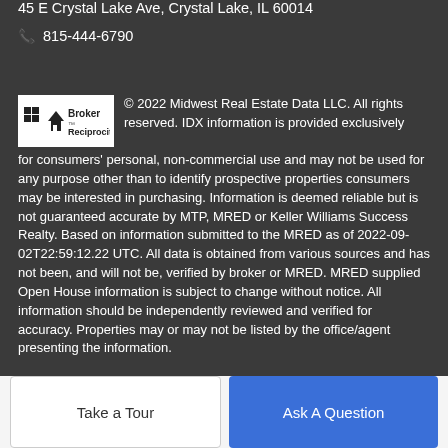45 E Crystal Lake Ave, Crystal Lake, IL 60014
📞 815-444-6790
© 2022 Midwest Real Estate Data LLC. All rights reserved. IDX information is provided exclusively for consumers' personal, non-commercial use and may not be used for any purpose other than to identify prospective properties consumers may be interested in purchasing. Information is deemed reliable but is not guaranteed accurate by MTP, MRED or Keller Williams Success Realty. Based on information submitted to the MRED as of 2022-09-02T22:59:12.22 UTC. All data is obtained from various sources and has not been, and will not be, verified by broker or MRED. MRED supplied Open House information is subject to change without notice. All information should be independently reviewed and verified for accuracy. Properties may or may not be listed by the office/agent presenting the information.
Take a Tour
Ask A Question